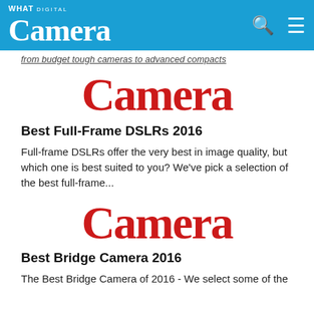What Digital Camera
from budget tough cameras to advanced compacts
[Figure (logo): Large red 'Camera' text logo for What Digital Camera magazine]
Best Full-Frame DSLRs 2016
Full-frame DSLRs offer the very best in image quality, but which one is best suited to you? We've pick a selection of the best full-frame...
[Figure (logo): Large red 'Camera' text logo for What Digital Camera magazine]
Best Bridge Camera 2016
The Best Bridge Camera of 2016 - We select some of the